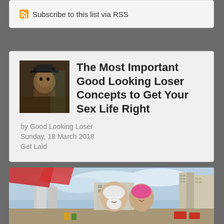Subscribe to this list via RSS
The Most Important Good Looking Loser Concepts to Get Your Sex Life Right
by Good Looking Loser
Sunday, 18 March 2018
Get Laid
[Figure (photo): Elderly couple at a beach with buildings in the background; man wearing white hat with white beard, woman wearing pink swimming cap, both smiling]